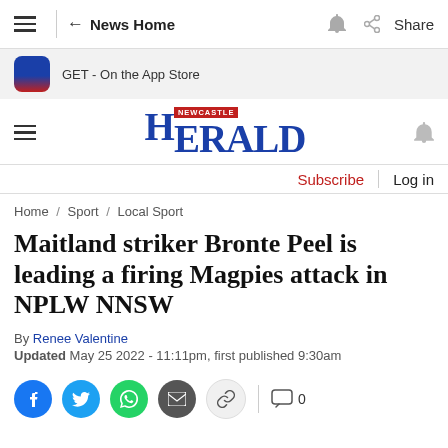≡ ← News Home 🔔 Share
GET - On the App Store
[Figure (logo): Newcastle Herald logo with NEWCASTLE badge in red and HERALD in blue serif font]
Subscribe | Log in
Home / Sport / Local Sport
Maitland striker Bronte Peel is leading a firing Magpies attack in NPLW NNSW
By Renee Valentine
Updated May 25 2022 - 11:11pm, first published 9:30am
Social share icons: Facebook, Twitter, WhatsApp, Email, Link, Comment 0